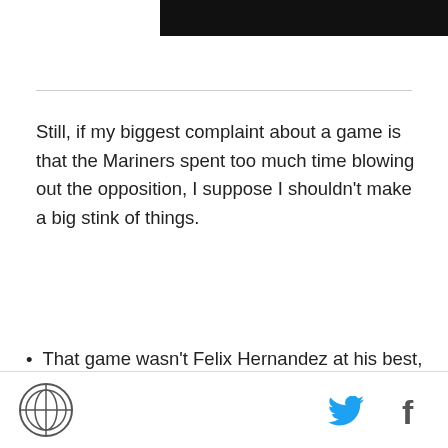[Figure (other): Black banner/bar at top of page]
Still, if my biggest complaint about a game is that the Mariners spent too much time blowing out the opposition, I suppose I shouldn't make a big stink of things.
That game wasn't Felix Hernandez at his best, but for the first three innings or so, it was damn close. Felix was flashing legitimate no-hit stuff as he plowed through the first nine batters with five strikeouts, and though he slowed down a bit later on, one wonders how much of that was due to his
Logo | Twitter | Facebook